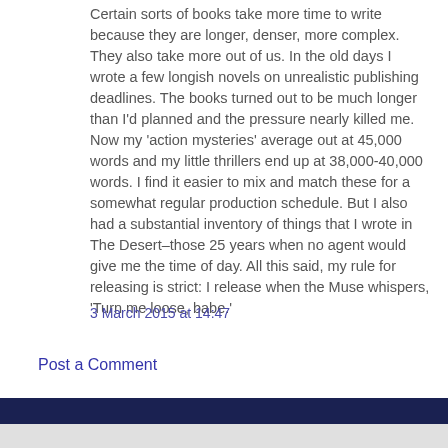Certain sorts of books take more time to write because they are longer, denser, more complex. They also take more out of us. In the old days I wrote a few longish novels on unrealistic publishing deadlines. The books turned out to be much longer than I'd planned and the pressure nearly killed me. Now my 'action mysteries' average out at 45,000 words and my little thrillers end up at 38,000-40,000 words. I find it easier to mix and match these for a somewhat regular production schedule. But I also had a substantial inventory of things that I wrote in The Desert–those 25 years when no agent would give me the time of day. All this said, my rule for releasing is strict: I release when the Muse whispers, 'Turn me loose, babe.'
3 March 2015 at 14:47
Post a Comment
Popular posts